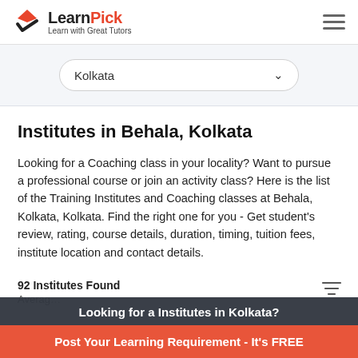LearnPick — Learn with Great Tutors
Kolkata
Institutes in Behala, Kolkata
Looking for a Coaching class in your locality? Want to pursue a professional course or join an activity class? Here is the list of the Training Institutes and Coaching classes at Behala, Kolkata, Kolkata. Find the right one for you - Get student's review, rating, course details, duration, timing, tuition fees, institute location and contact details.
92 Institutes Found
Average
Looking for a Institutes in Kolkata?
Post Your Learning Requirement - It's FREE